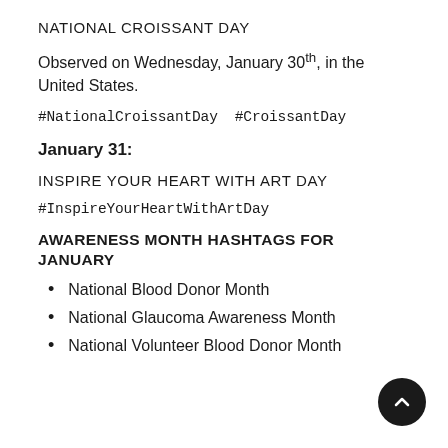NATIONAL CROISSANT DAY
Observed on Wednesday, January 30th, in the United States.
#NationalCroissantDay  #CroissantDay
January 31:
INSPIRE YOUR HEART WITH ART DAY
#InspireYourHeartWithArtDay
AWARENESS MONTH HASHTAGS FOR JANUARY
National Blood Donor Month
National Glaucoma Awareness Month
National Volunteer Blood Donor Month